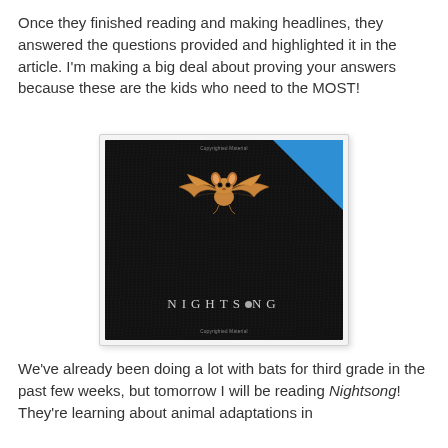Once they finished reading and making headlines, they answered the questions provided and highlighted it in the article. I'm making a big deal about proving your answers because these are the kids who need to the MOST!
[Figure (illustration): Book cover of 'Nightsong' showing a small cartoon bat flying against a dark textured background, with a blue 'LOOK INSIDE' banner in the top right corner and 'Copyrighted Material' watermarks at top and bottom.]
We've already been doing a lot with bats for third grade in the past few weeks, but tomorrow I will be reading Nightsong! They're learning about animal adaptations in